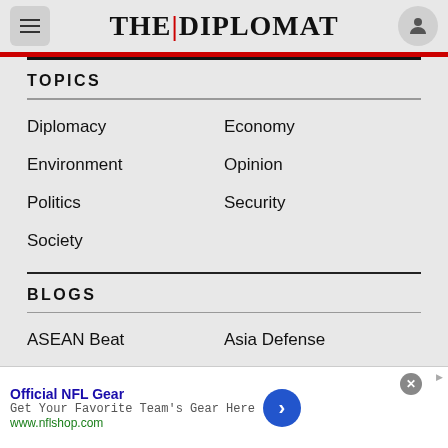THE|DIPLOMAT
TOPICS
Diplomacy
Economy
Environment
Opinion
Politics
Security
Society
BLOGS
ASEAN Beat
Asia Defense
China Power
Crossroads Asia
Official NFL Gear
Get Your Favorite Team's Gear Here
www.nflshop.com